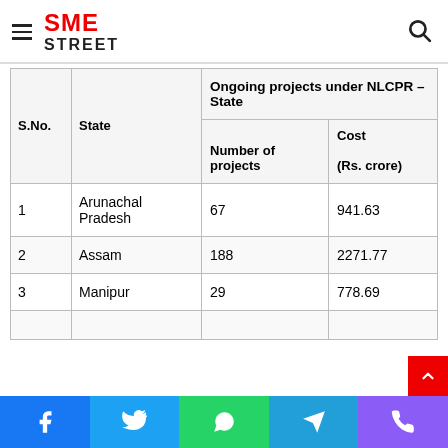SME STREET
| S.No. | State | Ongoing projects under NLCPR – State / Number of projects | Ongoing projects under NLCPR – State / Cost (Rs. crore) |
| --- | --- | --- | --- |
| 1 | Arunachal Pradesh | 67 | 941.63 |
| 2 | Assam | 188 | 2271.77 |
| 3 | Manipur | 29 | 778.69 |
Facebook | Twitter | WhatsApp | Telegram | Viber